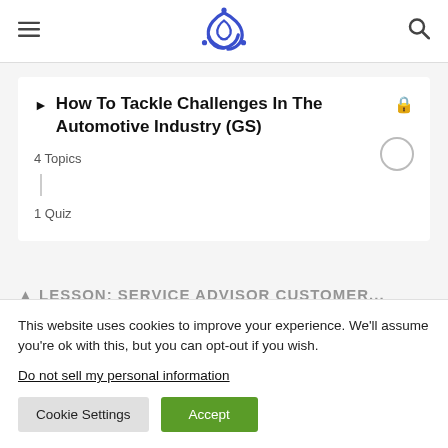[logo: stylized blue knot/swirl icon]
How To Tackle Challenges In The Automotive Industry (GS) 🔒
4 Topics
1 Quiz
This website uses cookies to improve your experience. We'll assume you're ok with this, but you can opt-out if you wish.
Do not sell my personal information
Cookie Settings  Accept